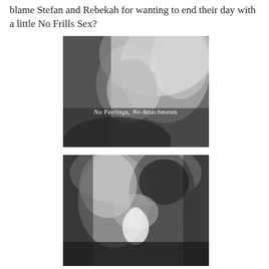blame Stefan and Rebekah for wanting to end their day with a little No Frills Sex?
[Figure (photo): Black and white close-up photo of a blonde woman with text overlay 'No Feelings, No Attachments']
[Figure (photo): Black and white photo of a man and woman (Stefan and Rebekah) in a close intimate embrace, nearly kissing]